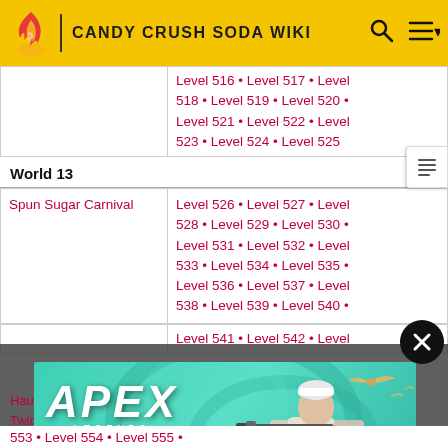CANDY CRUSH SODA WIKI
| Area | Levels |
| --- | --- |
|  | Level 516 • Level 517 • Level 518 • Level 519 • Level 520 • Level 521 • Level 522 • Level 523 • Level 524 • Level 525 |
| World 13 |  |
| Spun Sugar Carnival | Level 526 • Level 527 • Level 528 • Level 529 • Level 530 • Level 531 • Level 532 • Level 533 • Level 534 • Level 535 • Level 536 • Level 537 • Level 538 • Level 539 • Level 540 • Level 541 • Level 542 • Level 543 • Level 544 • Level 545 • Level 546 • Level 547 • Level 548 • Level 549 • Level 550 • Level 551 • Level 552 • Level 553 • Level 554 • Level 555 |
[Figure (screenshot): Apex Legends advertisement overlay with character holding a rifle, teal/green background]